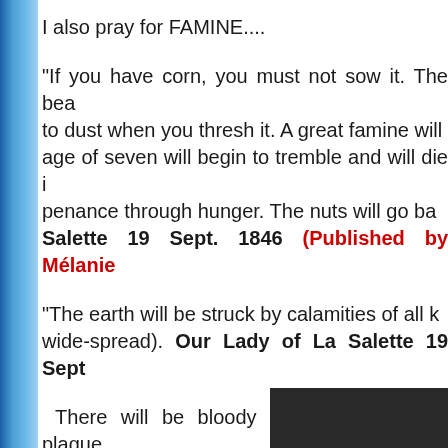I also pray for FAMINE....
“If you have corn, you must not sow it. The bea to dust when you thresh it. A great famine will age of seven will begin to tremble and will die i penance through hunger. The nuts will go ba Salette 19 Sept. 1846 (Published by Mélanie
“The earth will be struck by calamities of all k wide-spread). Our Lady of La Salette 19 Sept
There will be bloody wars and famines, plague Sept. 1846 (Published by Mélanie 1879)